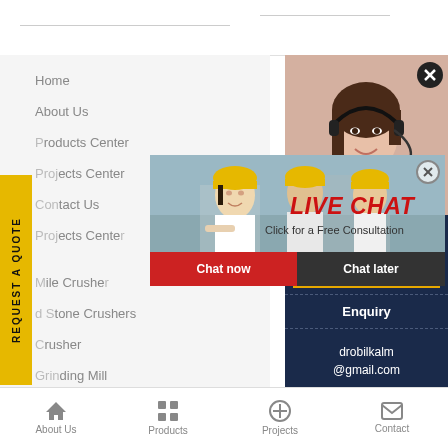[Figure (screenshot): Website navigation screenshot with menu items, live chat popup overlay, customer service agent photo, and mobile bottom navigation bar]
Home
About Us
Products Center
Projects Center
Contact Us
Projects Center
Mile Crusher
d Stone Crushers
Crusher
ding Mill
ating Feeders
Vibrating Screens
LIVE CHAT
Click for a Free Consultation
Chat now
Chat later
ave any requests, ick here.
Quotation
Enquiry
drobilkalm@gmail.com
About Us   Products   Projects   Contact